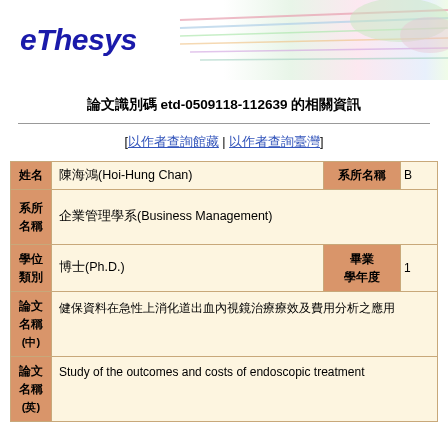[Figure (logo): eThesys logo with colorful decorative lines in header banner]
論文識別碼 etd-0509118-112639 的相關資訊
[以作者查詢館藏 | 以作者查詢臺灣]
| 姓名 | 陳海鴻(Hoi-Hung Chan) | 系所名稱 | B... |
| --- | --- | --- | --- |
| 系所
名稱 | 企業管理學系(Business Management) |  |  |
| 學位
類別 | 博士(Ph.D.) | 畢業
學年度 | 1 |
| 論文
名稱
(中) | 論文中文名稱（此處以方塊顯示） |  |  |
| 論文
名稱
(英) | Study of the outcomes and costs of endoscopic treatment |  |  |